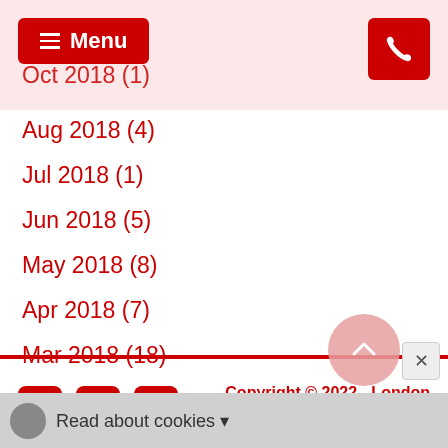Menu (navigation bar with phone icon)
Oct 2018 (1)
Aug 2018 (4)
Jul 2018 (1)
Jun 2018 (5)
May 2018 (8)
Apr 2018 (7)
Mar 2018 (18)
Feb 2018 (7)
Jan 2018 (1)
Copyright © 2022 - London Theatre Reviews
Read about cookies